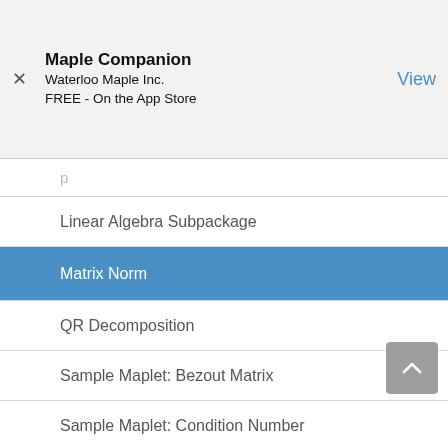Maple Companion
Waterloo Maple Inc.
FREE - On the App Store
Linear Algebra Subpackage
Matrix Norm
QR Decomposition
Sample Maplet: Bezout Matrix
Sample Maplet: Condition Number
Sample Maplet: Hilbert Matrix
Sample Maplet: Integration
Sample Maplet: Matrix Norm
Sample Maplet: QR Decomposition